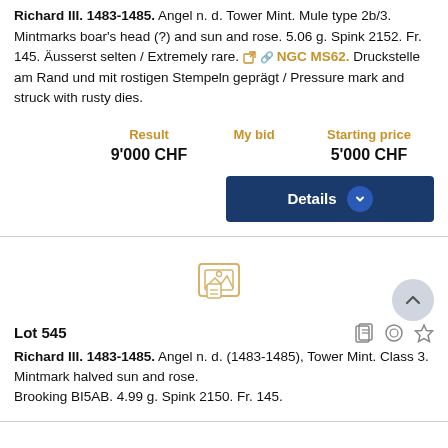Richard III. 1483-1485. Angel n. d. Tower Mint. Mule type 2b/3. Mintmarks boar's head (?) and sun and rose. 5.06 g. Spink 2152. Fr. 145. Äusserst selten / Extremely rare. NGC MS62. Druckstelle am Rand und mit rostigen Stempeln geprägt / Pressure mark and struck with rusty dies.
| Result | My bid | Starting price |
| --- | --- | --- |
| 9'000 CHF |  | 5'000 CHF |
Details
[Figure (other): Image placeholder icon for auction lot 545]
Lot 545
Richard III. 1483-1485. Angel n. d. (1483-1485), Tower Mint. Class 3. Mintmark halved sun and rose. Brooking BI5AB. 4.99 g. Spink 2150. Fr. 145.